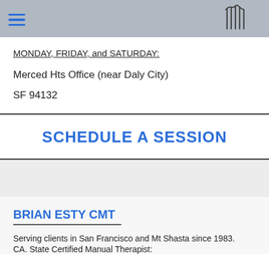MONDAY, FRIDAY, and SATURDAY:
Merced Hts Office (near Daly City)
SF 94132
SCHEDULE A SESSION
BRIAN ESTY CMT
Serving clients in San Francisco and Mt Shasta since 1983.
CA. State Certified Manual Therapist: